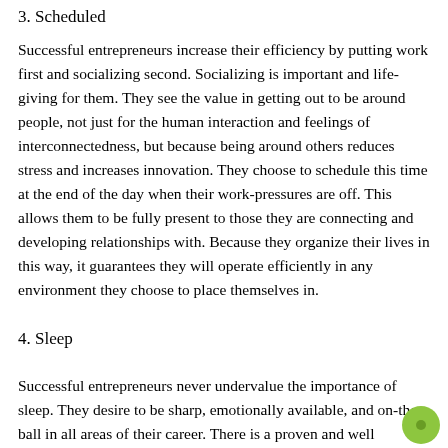3. Scheduled
Successful entrepreneurs increase their efficiency by putting work first and socializing second. Socializing is important and life-giving for them. They see the value in getting out to be around people, not just for the human interaction and feelings of interconnectedness, but because being around others reduces stress and increases innovation. They choose to schedule this time at the end of the day when their work-pressures are off. This allows them to be fully present to those they are connecting and developing relationships with. Because they organize their lives in this way, it guarantees they will operate efficiently in any environment they choose to place themselves in.
4. Sleep
Successful entrepreneurs never undervalue the importance of sleep. They desire to be sharp, emotionally available, and on-the-ball in all areas of their career. There is a proven and well